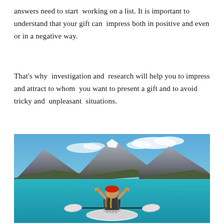answers need to start working on a list. It is important to understand that your gift can impress both in positive and even or in a negative way.
That's why investigation and research will help you to impress and attract to whom you want to present a gift and to avoid tricky and unpleasant situations.
[Figure (photo): A woman sitting in a kayak on a bright turquoise lake, with her hands behind her head, facing away from the camera toward large rocky mountains under a blue sky with clouds.]